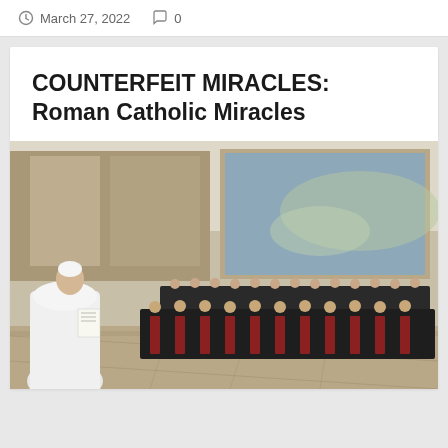March 27, 2022   0
COUNTERFEIT MIRACLES: Roman Catholic Miracles
[Figure (photo): A figure dressed in white papal vestments stands at left reading from papers, facing a large hall filled with rows of seated clergy in black robes with red accents. The ornate hall features elaborate Renaissance-style frescoes covering the walls and ceiling, with a large painted scene on the right wall. The marble floor is visible in the foreground.]